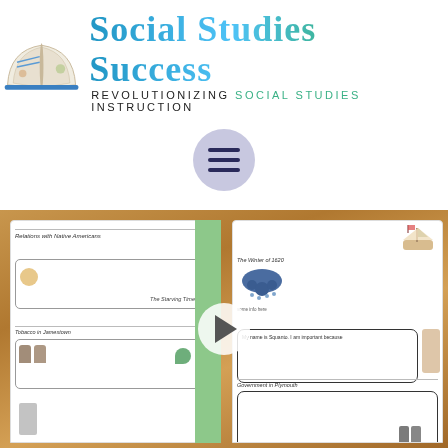[Figure (logo): Social Studies Success logo with open book illustration and cursive/script text reading 'Social Studies Success' and subtitle 'REVOLUTIONIZING SOCIAL STUDIES INSTRUCTION']
[Figure (screenshot): Hamburger menu icon (three horizontal lines) on a lavender/purple circular background, serving as a navigation button]
[Figure (photo): Video thumbnail showing educational workbook pages about Jamestown and Plymouth colonies laid on a wooden table, with a play button overlay. Left page shows sections: Relations with Native Americans, The Starving Time, Tobacco in Jamestown. Right page shows: The Winter of 1620, a speech bubble with 'My name is Squanto. I am important because...', and Government in Plymouth.]